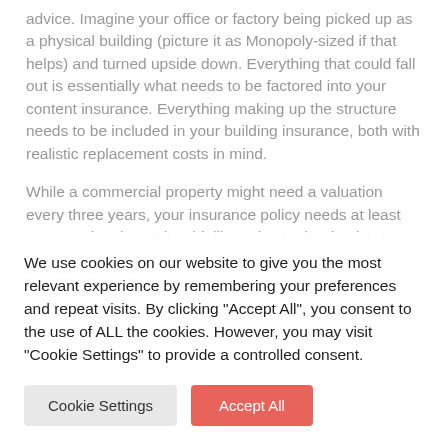advice. Imagine your office or factory being picked up as a physical building (picture it as Monopoly-sized if that helps) and turned upside down. Everything that could fall out is essentially what needs to be factored into your content insurance. Everything making up the structure needs to be included in your building insurance, both with realistic replacement costs in mind.
While a commercial property might need a valuation every three years, your insurance policy needs at least an annual review. It is a bit like going to the dentist. No one really enjoys having to go but the protection it provides is worth
We use cookies on our website to give you the most relevant experience by remembering your preferences and repeat visits. By clicking "Accept All", you consent to the use of ALL the cookies. However, you may visit "Cookie Settings" to provide a controlled consent.